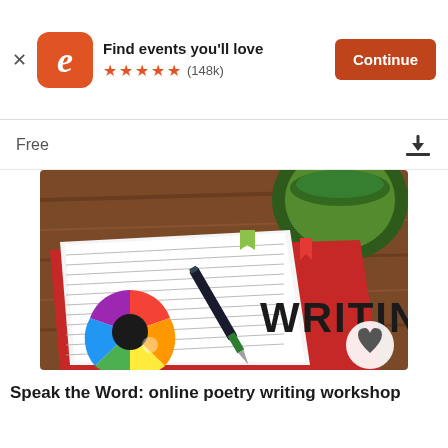[Figure (screenshot): Eventbrite app banner with logo, 'Find events you'll love' text, 5 star rating (148k), and orange Continue button]
Free
[Figure (photo): Photo of a notebook with lined pages, a fountain pen, word WRITING in large text, colorful palette logo, and a green cup in background on wooden surface]
Speak the Word: online poetry writing workshop